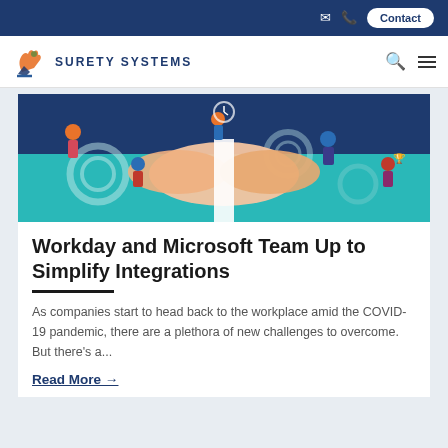Contact
[Figure (logo): Surety Systems logo with stylized hand figure in orange and blue, text SURETY SYSTEMS]
[Figure (illustration): Illustration of people collaborating with handshake in center surrounded by gears, teal and dark blue background]
Workday and Microsoft Team Up to Simplify Integrations
As companies start to head back to the workplace amid the COVID-19 pandemic, there are a plethora of new challenges to overcome. But there's a...
Read More →